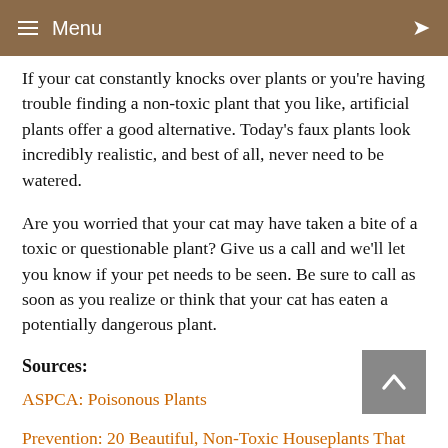≡ Menu
If your cat constantly knocks over plants or you're having trouble finding a non-toxic plant that you like, artificial plants offer a good alternative. Today's faux plants look incredibly realistic, and best of all, never need to be watered.
Are you worried that your cat may have taken a bite of a toxic or questionable plant? Give us a call and we'll let you know if your pet needs to be seen. Be sure to call as soon as you realize or think that your cat has eaten a potentially dangerous plant.
Sources:
ASPCA: Poisonous Plants
Prevention: 20 Beautiful, Non-Toxic Houseplants That Are Safe for Cats, 3/29,2022